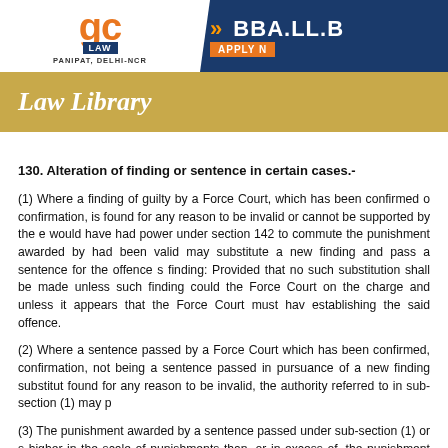GC Institute of Law | PANIPAT, DELHI-NCR | >> BBA.LL.B | APPLY NOW
Law Library
130. Alteration of finding or sentence in certain cases.-
(1) Where a finding of guilty by a Force Court, which has been confirmed or requires no confirmation, is found for any reason to be invalid or cannot be supported by the evidence, any authority who would have had power under section 142 to commute the punishment awarded by the sentence if the finding had been valid may substitute a new finding and pass a sentence for the offence specified in such finding: Provided that no such substitution shall be made unless such finding could have been made by the Force Court on the charge and unless it appears that the Force Court must have been satisfied of the facts establishing the said offence.
(2) Where a sentence passed by a Force Court which has been confirmed, or which requires no confirmation, not being a sentence passed in pursuance of a new finding substituted under sub-section (1), is found for any reason to be invalid, the authority referred to in sub-section (1) may pass a valid sentence.
(3) The punishment awarded by a sentence passed under sub-section (1) or sub-section (2) shall not be higher in the scale of punishments than, or in excess of, the punishment awarded by the original sentence if no new sentence is substituted under this section.
(4) Any finding substituted, or any sentence passed, under this section shall, for the purposes of this Act and the rules, have effect as if it were a finding or sentence, as the case may be, of a Force Court.